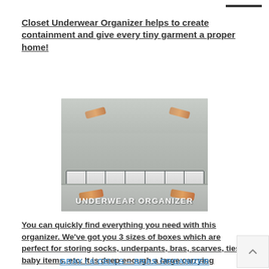Closet Underwear Organizer helps to create containment and give every tiny garment a proper home!
[Figure (photo): A drawer organizer filled with neatly rolled underwear/socks in compartments inside a gray cabinet drawer with wooden handles. Text overlay reads 'UNDERWEAR ORGANIZER'.]
You can quickly find everything you need with this organizer. We've got you 3 sizes of boxes which are perfect for storing socks, underpants, bras, scarves, ties, baby items, etc. It is deep enough a large carrying capacity. You can add or take away these organizers to your drawers as you like!
GRAY / 6 CELLS – BRAS ORGANIZER